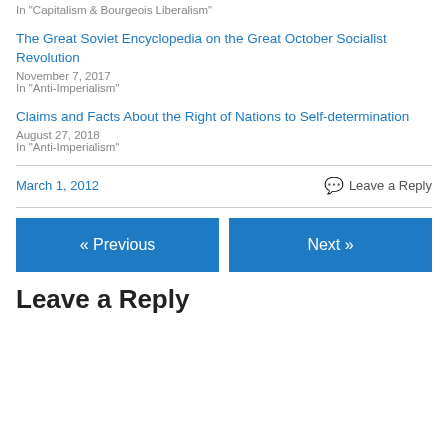In "Capitalism & Bourgeois Liberalism"
The Great Soviet Encyclopedia on the Great October Socialist Revolution
November 7, 2017
In "Anti-Imperialism"
Claims and Facts About the Right of Nations to Self-determination
August 27, 2018
In "Anti-Imperialism"
March 1, 2012
Leave a Reply
« Previous
Next »
Leave a Reply